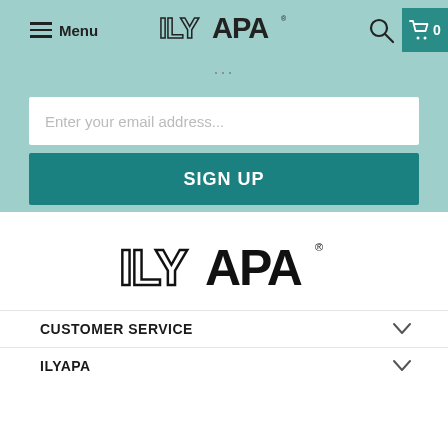Menu | ILYAPA | Search | Cart 0
...
Enter your email address...
SIGN UP
[Figure (logo): ILYAPA brand logo in black, large, centered]
CUSTOMER SERVICE
ILYAPA